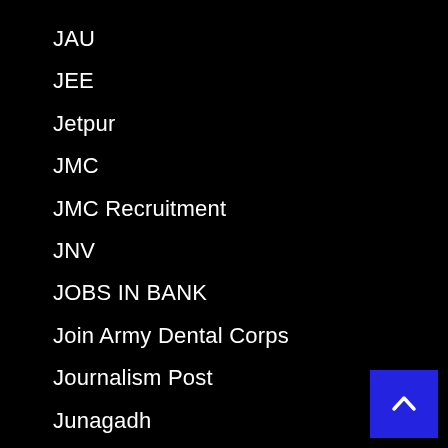JAU
JEE
Jetpur
JMC
JMC Recruitment
JNV
JOBS IN BANK
Join Army Dental Corps
Journalism Post
Junagadh
Junagadh Nagarpalika
Kadana
Kalol
Kalupur Bank
Kandla